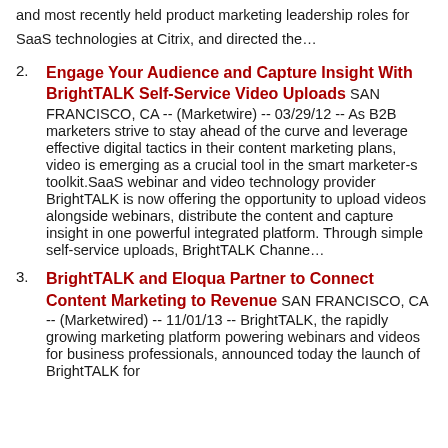and most recently held product marketing leadership roles for SaaS technologies at Citrix, and directed the…
Engage Your Audience and Capture Insight With BrightTALK Self-Service Video Uploads SAN FRANCISCO, CA -- (Marketwire) -- 03/29/12 -- As B2B marketers strive to stay ahead of the curve and leverage effective digital tactics in their content marketing plans, video is emerging as a crucial tool in the smart marketer-s toolkit.SaaS webinar and video technology provider BrightTALK is now offering the opportunity to upload videos alongside webinars, distribute the content and capture insight in one powerful integrated platform. Through simple self-service uploads, BrightTALK Channe…
BrightTALK and Eloqua Partner to Connect Content Marketing to Revenue SAN FRANCISCO, CA -- (Marketwired) -- 11/01/13 -- BrightTALK, the rapidly growing marketing platform powering webinars and videos for business professionals, announced today the launch of BrightTALK for…